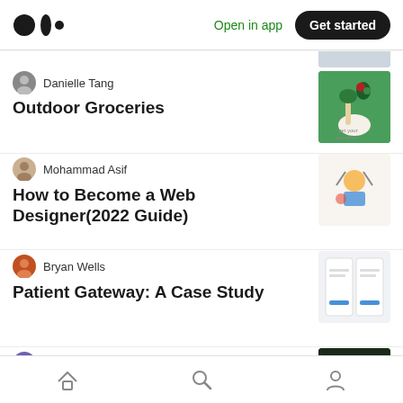Medium logo | Open in app | Get started
Danielle Tang
Outdoor Groceries
Mohammad Asif
How to Become a Web Designer(2022 Guide)
Bryan Wells
Patient Gateway: A Case Study
Nina Lloyd
Home | Search | Profile